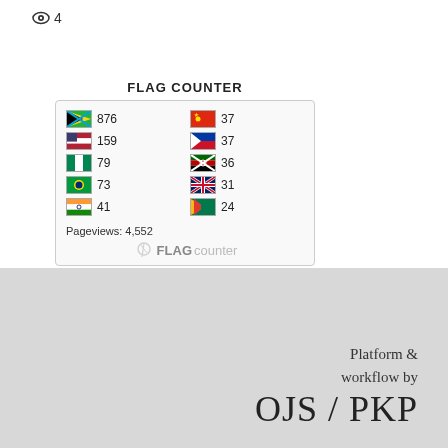👁 4
FLAG COUNTER
[Figure (infographic): Flag counter widget showing country flags with visit counts. Tanzania 876, USA 159, Nigeria 79, Brazil 73, India 41, China 37, Philippines 37, Kenya 36, UK 31, South Africa 24. Pageviews: 4,552. FLAG counter branding at bottom.]
Platform & workflow by OJS / PKP